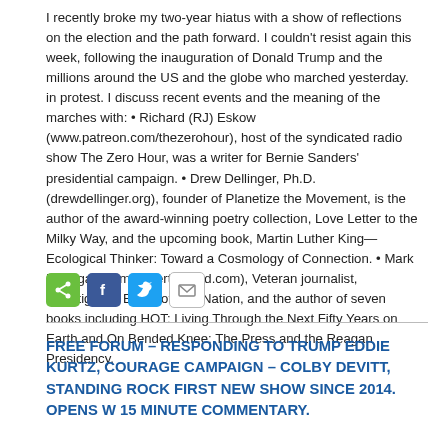I recently broke my two-year hiatus with a show of reflections on the election and the path forward. I couldn't resist again this week, following the inauguration of Donald Trump and the millions around the US and the globe who marched yesterday. in protest. I discuss recent events and the meaning of the marches with: • Richard (RJ) Eskow (www.patreon.com/thezerohour), host of the syndicated radio show The Zero Hour, was a writer for Bernie Sanders' presidential campaign. • Drew Dellinger, Ph.D. (drewdellinger.org), founder of Planetize the Movement, is the author of the award-winning poetry collection, Love Letter to the Milky Way, and the upcoming book, Martin Luther King—Ecological Thinker: Toward a Cosmology of Connection. • Mark Hertsgaard (markhertsgaard.com), Veteran journalist, Investigative Editor of The Nation, and the author of seven books including HOT: Living Through the Next Fifty Years on Earth and On Bended Knee: The Press and the Reagan Presidency.
[Figure (other): Social sharing icons: share (green), Facebook (blue), Twitter (light blue), Email (grey outline)]
FREE FORUM – RESPONDING TO TRUMP EDDIE KURTZ, COURAGE CAMPAIGN – COLBY DEVITT, STANDING ROCK FIRST NEW SHOW SINCE 2014. OPENS W 15 MINUTE COMMENTARY.